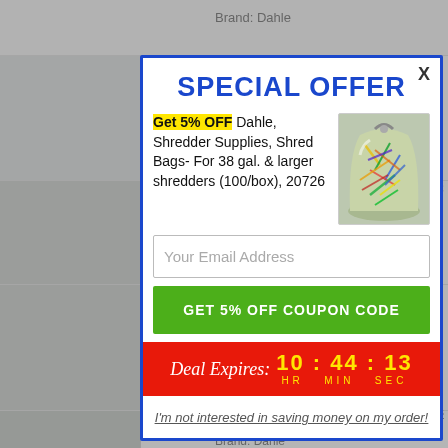[Figure (screenshot): E-commerce website background with product listings of shredded paper bags and office supplies.]
SPECIAL OFFER
Get 5% OFF Dahle, Shredder Supplies, Shred Bags- For 38 gal. & larger shredders (100/box), 20726
[Figure (photo): Photo of a clear bag filled with colorful shredded paper.]
Your Email Address
GET 5% OFF COUPON CODE
Deal Expires: 10 : 44 : 13 HR MIN SEC
I'm not interested in saving money on my order!